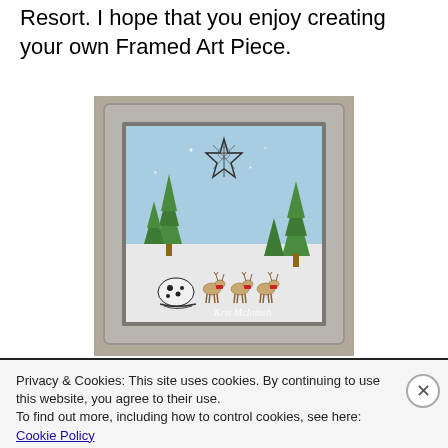Resort. I hope that you enjoy creating your own Framed Art Piece.
[Figure (photo): A framed Christmas art piece inside a silver/gray frame, depicting a winter scene with green trees, a large decorative star, reindeer, and a sleigh. A watermark reads 'Kris McIntosh'.]
Privacy & Cookies: This site uses cookies. By continuing to use this website, you agree to their use.
To find out more, including how to control cookies, see here: Cookie Policy